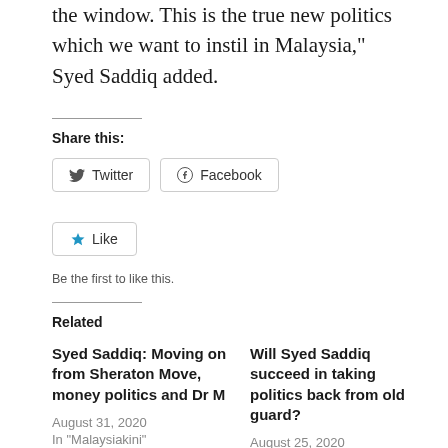the window. This is the true new politics which we want to instil in Malaysia," Syed Saddiq added.
Share this:
Twitter   Facebook
Like   Be the first to like this.
Related
Syed Saddiq: Moving on from Sheraton Move, money politics and Dr M
August 31, 2020
In "Malaysiakini"
Will Syed Saddiq succeed in taking politics back from old guard?
August 25, 2020
In "Malaysiakini"